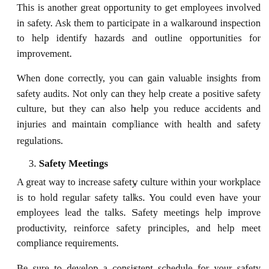This is another great opportunity to get employees involved in safety. Ask them to participate in a walkaround inspection to help identify hazards and outline opportunities for improvement.
When done correctly, you can gain valuable insights from safety audits. Not only can they help create a positive safety culture, but they can also help you reduce accidents and injuries and maintain compliance with health and safety regulations.
3. Safety Meetings
A great way to increase safety culture within your workplace is to hold regular safety talks. You could even have your employees lead the talks. Safety meetings help improve productivity, reinforce safety principles, and help meet compliance requirements.
Be sure to develop a consistent schedule for your safety meetings. Most organizations will host “tailgate meetings” or